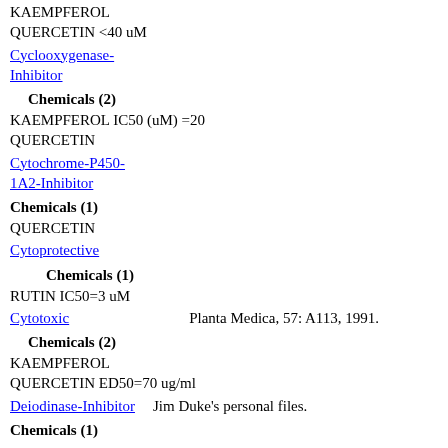KAEMPFEROL
QUERCETIN <40 uM
Cyclooxygenase-Inhibitor
Chemicals (2)
KAEMPFEROL IC50 (uM) =20
QUERCETIN
Cytochrome-P450-1A2-Inhibitor
Chemicals (1)
QUERCETIN
Cytoprotective
Chemicals (1)
RUTIN IC50=3 uM
Cytotoxic    Planta Medica, 57: A113, 1991.
Chemicals (2)
KAEMPFEROL
QUERCETIN ED50=70 ug/ml
Deiodinase-Inhibitor    Jim Duke's personal files.
Chemicals (1)